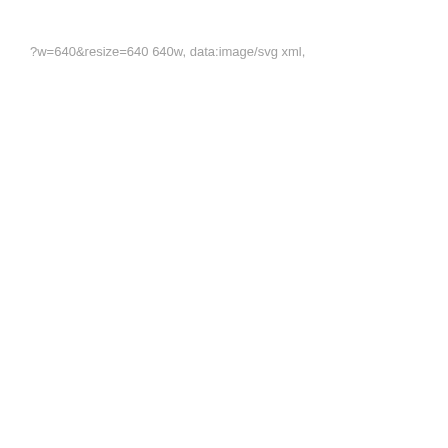?w=640&resize=640 640w, data:image/svg xml,